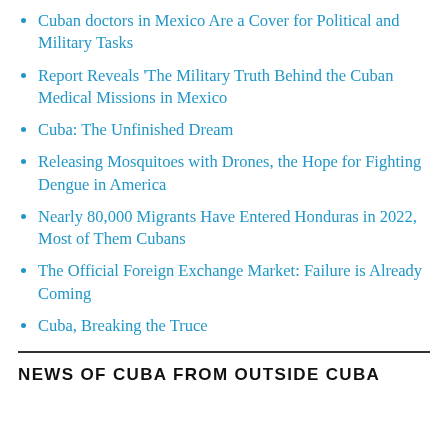Cuban doctors in Mexico Are a Cover for Political and Military Tasks
Report Reveals 'The Military Truth Behind the Cuban Medical Missions in Mexico
Cuba: The Unfinished Dream
Releasing Mosquitoes with Drones, the Hope for Fighting Dengue in America
Nearly 80,000 Migrants Have Entered Honduras in 2022, Most of Them Cubans
The Official Foreign Exchange Market: Failure is Already Coming
Cuba, Breaking the Truce
NEWS OF CUBA FROM OUTSIDE CUBA